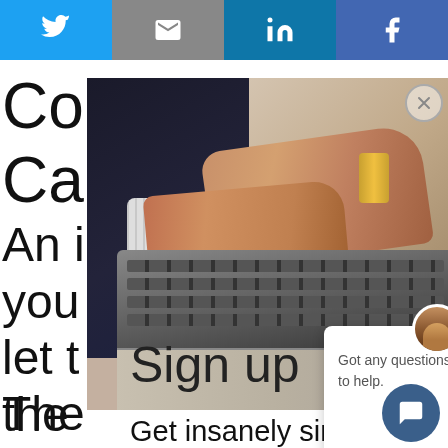[Figure (screenshot): Social sharing bar with Twitter, Email, LinkedIn, and Facebook buttons]
[Figure (photo): Photo of a person in a business suit typing on a laptop keyboard, partially overlapping background text]
Co
Ca
An ... of
you ... p
let ... om
the
Sign up
The
is w
arr
stuff
[Figure (screenshot): Chat popup with avatar and message: Got any questions? I'm happy to help.]
Get insanely simple marketing
[Figure (screenshot): Chat bubble widget button in bottom right corner]